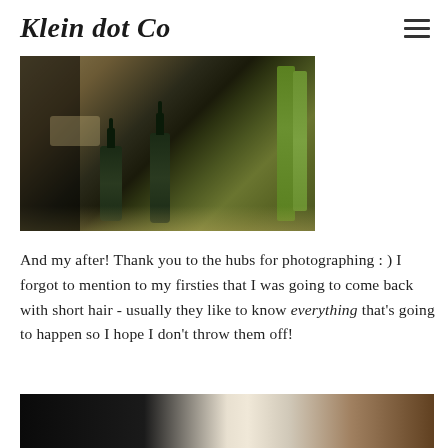Klein dot Co
[Figure (photo): Photo of dark green glass bottles with pump dispensers and bamboo stalks on a reflective surface, bathroom counter]
And my after! Thank you to the hubs for photographing : ) I forgot to mention to my firsties that I was going to come back with short hair - usually they like to know everything that's going to happen so I hope I don't throw them off!
[Figure (photo): Partial photo of a room interior, dark on left side, light on right side with decorative objects]